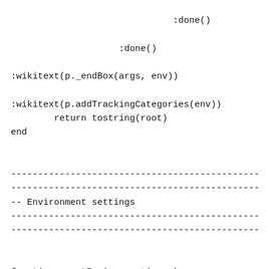:done()

                    :done()

:wikitext(p._endBox(args, env))

:wikitext(p.addTrackingCategories(env))
        return tostring(root)
end


----------------------------------------------
----------------------------------------------
-- Environment settings
----------------------------------------------
----------------------------------------------


function p.getEnvironment(args)
        --[[